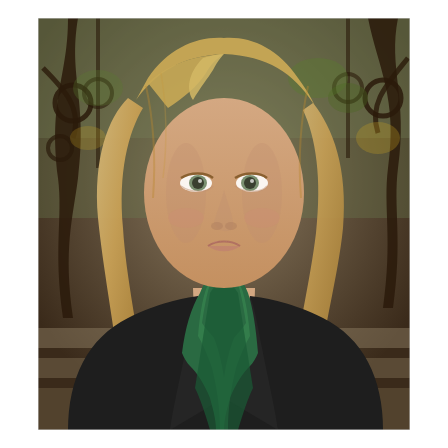[Figure (photo): Portrait photograph of a blonde woman wearing a black jacket and green silk scarf, seated outdoors in front of decorative wrought iron fencing with foliage in the background.]